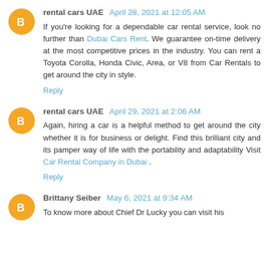rental cars UAE  April 28, 2021 at 12:05 AM
If you're looking for a dependable car rental service, look no further than Dubai Cars Rent. We guarantee on-time delivery at the most competitive prices in the industry. You can rent a Toyota Corolla, Honda Civic, Area, or V8 from Car Rentals to get around the city in style.
Reply
rental cars UAE  April 29, 2021 at 2:06 AM
Again, hiring a car is a helpful method to get around the city whether it is for business or delight. Find this brilliant city and its pamper way of life with the portability and adaptability Visit Car Rental Company in Dubai .
Reply
Brittany Seiber  May 6, 2021 at 9:34 AM
To know more about Chief Dr Lucky you can visit his